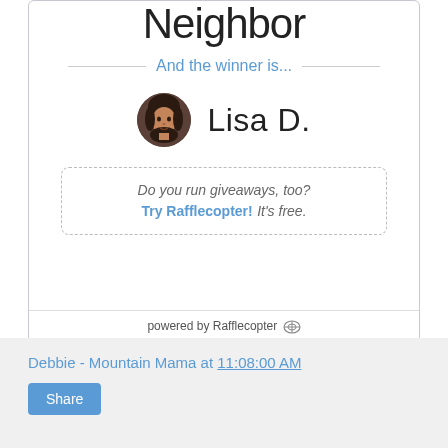Neighbor
And the winner is...
[Figure (photo): Circular avatar photo of a woman with dark hair]
Lisa D.
Do you run giveaways, too? Try Rafflecopter! It's free.
powered by Rafflecopter
Debbie - Mountain Mama at 11:08:00 AM
Share